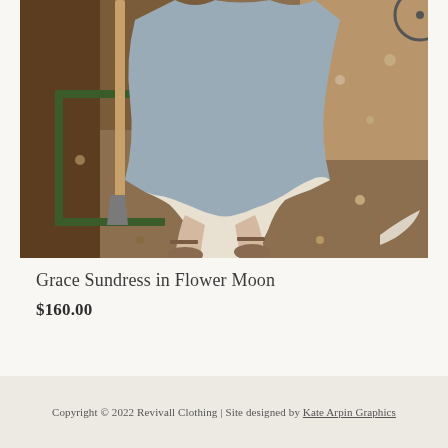[Figure (photo): A person standing in a garden plot of tilled earth, wearing a grey/blue floral midi dress with white lace hem, brown Mary Jane shoes with ankle straps. A shovel and green garden frame are visible. Only the lower body (from waist down) and feet are shown.]
Grace Sundress in Flower Moon
$160.00
Copyright © 2022 Revivall Clothing | Site designed by Kate Arpin Graphics